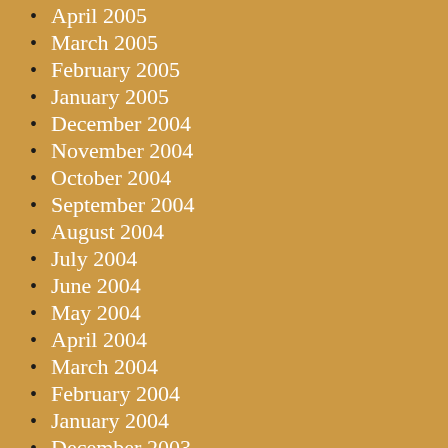April 2005
March 2005
February 2005
January 2005
December 2004
November 2004
October 2004
September 2004
August 2004
July 2004
June 2004
May 2004
April 2004
March 2004
February 2004
January 2004
December 2003